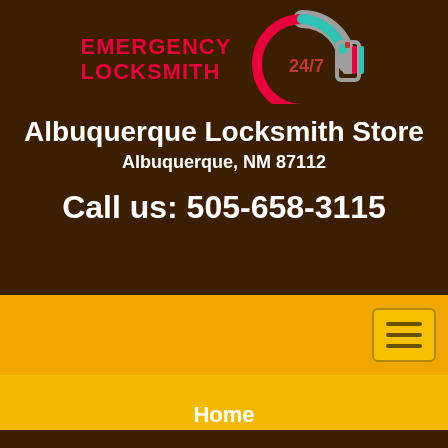[Figure (logo): Emergency Locksmith 24/7 logo with lock icon and key graphic]
Albuquerque Locksmith Store
Albuquerque, NM 87112
Call us: 505-658-3115
[Figure (other): Navigation hamburger menu button]
Home
Home > Home